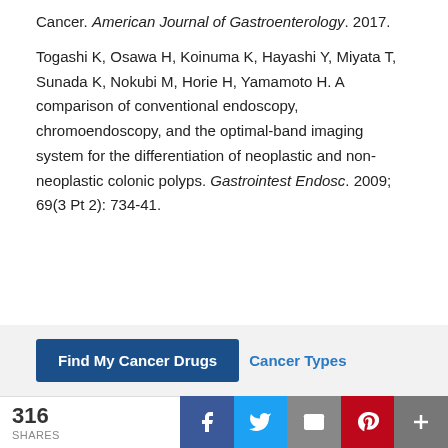Cancer. American Journal of Gastroenterology. 2017.
Togashi K, Osawa H, Koinuma K, Hayashi Y, Miyata T, Sunada K, Nokubi M, Horie H, Yamamoto H. A comparison of conventional endoscopy, chromoendoscopy, and the optimal-band imaging system for the differentiation of neoplastic and non-neoplastic colonic polyps. Gastrointest Endosc. 2009; 69(3 Pt 2): 734-41.
Find My Cancer Drugs | Cancer Types
316 SHARES | Facebook | Twitter | Email | Pinterest | +